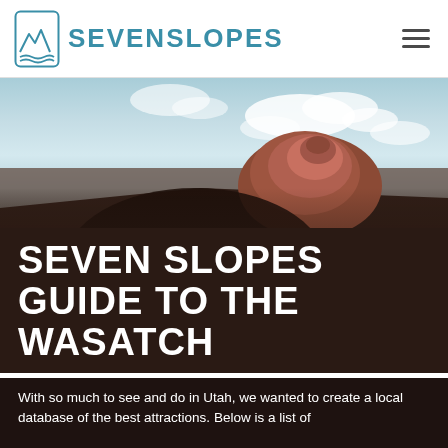SEVENSLOPES
[Figure (photo): Outdoor landscape hero image showing a red rock formation against a blue cloudy sky, with a dark blurred foreground.]
SEVEN SLOPES GUIDE TO THE WASATCH
With so much to see and do in Utah, we wanted to create a local database of the best attractions. Below is a list of attractions with hours, best times to visit, and descriptions.